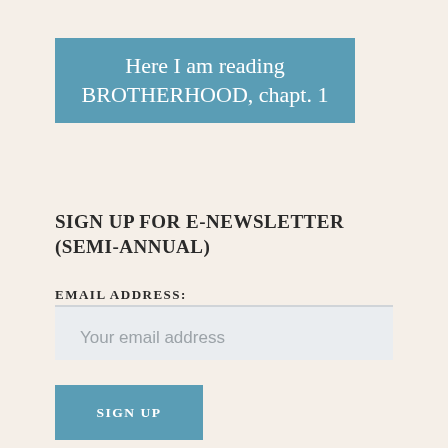Here I am reading BROTHERHOOD, chapt. 1
SIGN UP FOR E-NEWSLETTER (SEMI-ANNUAL)
EMAIL ADDRESS:
Your email address
SIGN UP